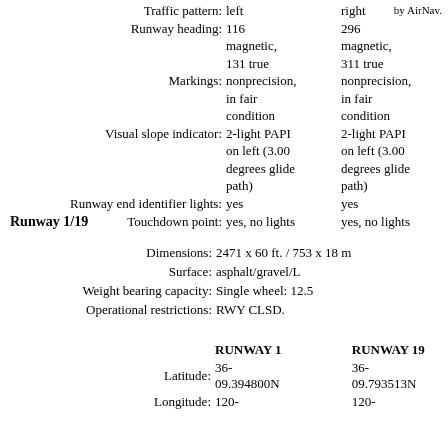by AirNav.
Traffic pattern: left | right
Runway heading: 116 | 296
magnetic, | magnetic,
131 true | 311 true
Markings: nonprecision, | nonprecision,
in fair | in fair
condition | condition
Visual slope indicator: 2-light PAPI | 2-light PAPI
on left (3.00 | on left (3.00
degrees glide | degrees glide
path) | path)
Runway end identifier lights: yes | yes
Touchdown point: yes, no lights | yes, no lights
Runway 1/19
Dimensions: 2471 x 60 ft. / 753 x 18 m
Surface: asphalt/gravel/L
Weight bearing capacity: Single wheel: 12.5
Operational restrictions: RWY CLSD.
|  | RUNWAY 1 | RUNWAY 19 |
| --- | --- | --- |
| Latitude: | 36-
09.394800N | 36-
09.793513N |
| Longitude: | 120- | 120- |